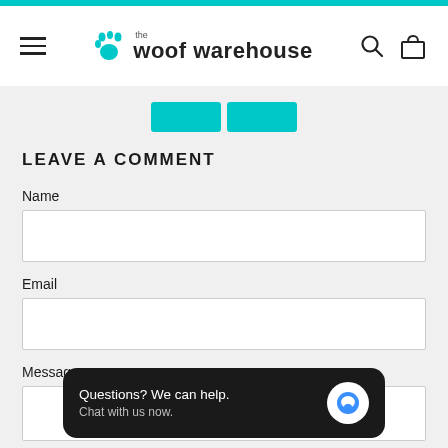the woof warehouse
LEAVE A COMMENT
Name
Email
Message
Questions? We can help. Chat with us now.